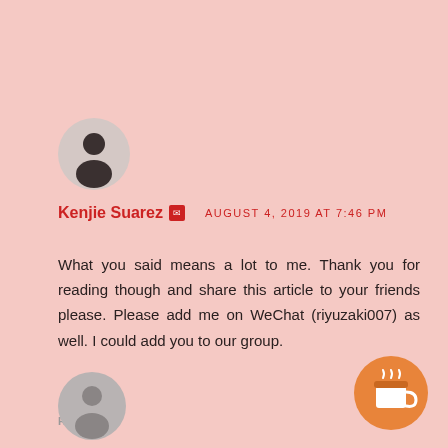[Figure (photo): Circular avatar of Kenjie Suarez showing a silhouetted person outdoors]
Kenjie Suarez  ☑   AUGUST 4, 2019 AT 7:46 PM
What you said means a lot to me. Thank you for reading though and share this article to your friends please. Please add me on WeChat (riyuzaki007) as well. I could add you to our group.
REPLY
[Figure (photo): Circular grey avatar placeholder for second commenter]
[Figure (illustration): Orange circular button with coffee cup icon]